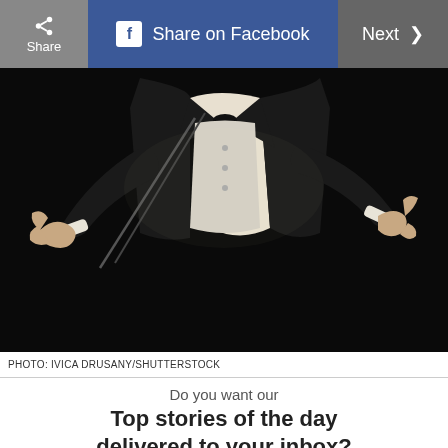Share | Share on Facebook | Next
[Figure (photo): Orchestra conductor in black tuxedo with white vest, arms outstretched, conducting against a dark background. Photo by Ivica Drusany/Shutterstock.]
PHOTO: IVICA DRUSANY/SHUTTERSTOCK
Do you want our
Top stories of the day delivered to your inbox?
YES PLEASE!
NO THANKS